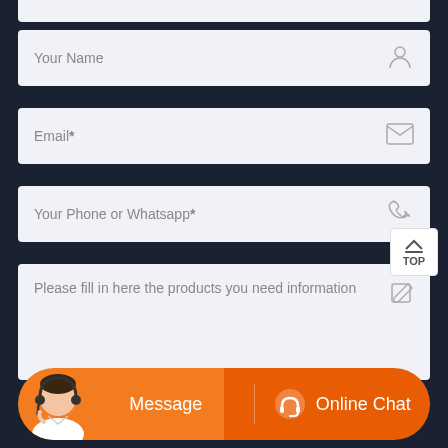Your Name
Email*
Your Phone or Whatsapp*
Please fill in here the products you need information
Message
Online Chat